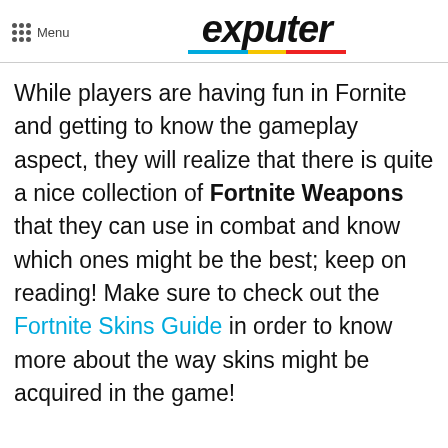Menu | exputer
While players are having fun in Fornite and getting to know the gameplay aspect, they will realize that there is quite a nice collection of Fortnite Weapons that they can use in combat and know which ones might be the best; keep on reading! Make sure to check out the Fortnite Skins Guide in order to know more about the way skins might be acquired in the game!